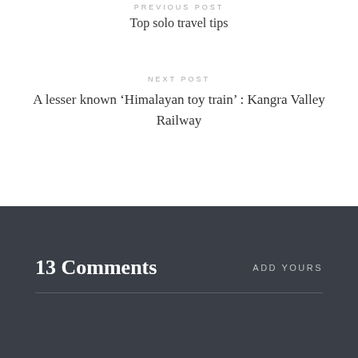PREVIOUS POST
Top solo travel tips
NEXT POST
A lesser known ‘Himalayan toy train’ : Kangra Valley Railway
13 Comments
ADD YOURS